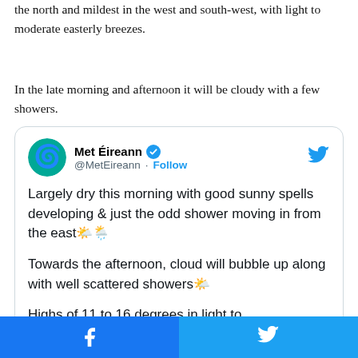the north and mildest in the west and south-west, with light to moderate easterly breezes.
In the late morning and afternoon it will be cloudy with a few showers.
[Figure (screenshot): Embedded tweet from @MetEireann: 'Largely dry this morning with good sunny spells developing & just the odd shower moving in from the east 🌤️🌦️

Towards the afternoon, cloud will bubble up along with well scattered showers 🌤️

Highs of 11 to 16 degrees in light to']
Facebook share | Twitter share